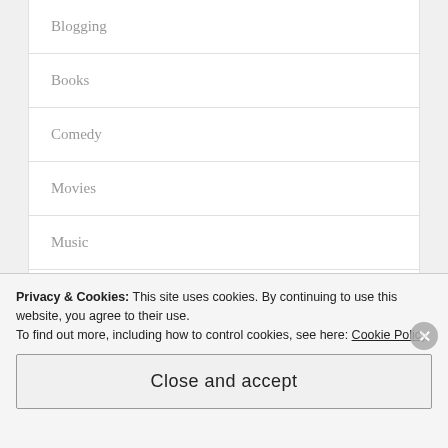Blogging
Books
Comedy
Movies
Music
Podcasts
Television
Privacy & Cookies: This site uses cookies. By continuing to use this website, you agree to their use. To find out more, including how to control cookies, see here: Cookie Policy
Close and accept